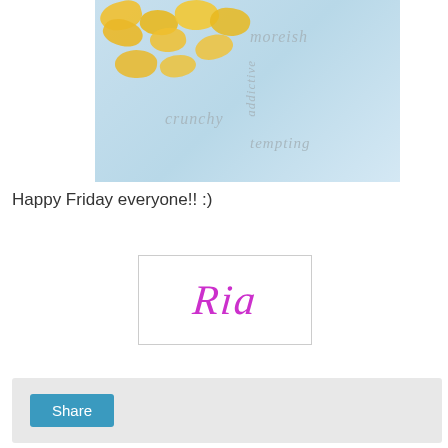[Figure (photo): Photo of yellow plantain chips on a light blue background with text overlay words: moreish, addictive, crunchy, tempting]
Happy Friday everyone!! :)
[Figure (illustration): Signature logo with cursive text 'Ria' in magenta/pink color inside a thin bordered rectangle]
[Figure (screenshot): Light gray share widget area with a teal/blue Share button]